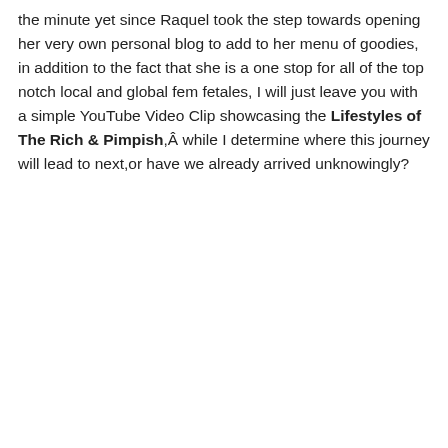the minute yet since Raquel took the step towards opening her very own personal blog to add to her menu of goodies, in addition to the fact that she is a one stop for all of the top notch local and global fem fetales, I will just leave you with a simple YouTube Video Clip showcasing the Lifestyles of The Rich & Pimpish,Â while I determine where this journey will lead to next,or have we already arrived unknowingly?